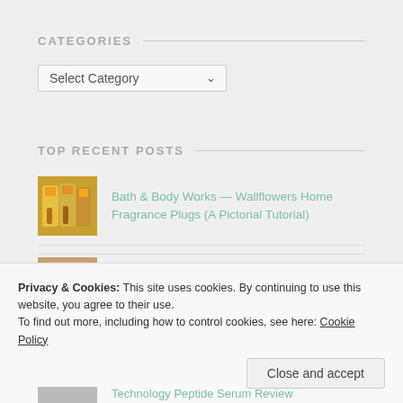CATEGORIES
Select Category
TOP RECENT POSTS
Bath & Body Works — Wallflowers Home Fragrance Plugs (A Pictorial Tutorial)
Pure Ice — Good Glistener (Shine with Gel Tech Nail Polish) Swatch & Review
Privacy & Cookies: This site uses cookies. By continuing to use this website, you agree to their use.
To find out more, including how to control cookies, see here: Cookie Policy
Close and accept
Technology Peptide Serum Review